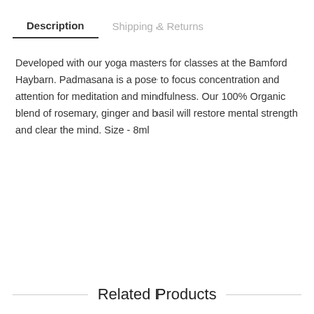Description
Shipping & Returns
Developed with our yoga masters for classes at the Bamford Haybarn. Padmasana is a pose to focus concentration and attention for meditation and mindfulness. Our 100% Organic blend of rosemary, ginger and basil will restore mental strength and clear the mind. Size - 8ml
Related Products